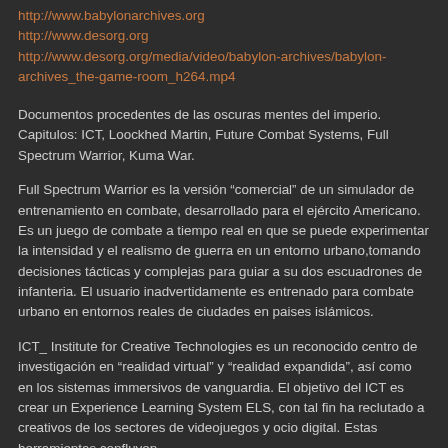http://www.babylonarchives.org
http://www.desorg.org
http://www.desorg.org/media/video/babylon-archives/babylon-archives_the-game-room_h264.mp4
Documentos procedentes de las oscuras mentes del imperio. Capitulos: ICT, Loockhed Martin, Future Combat Systems, Full Spectrum Warrior, Kuma War.
Full Spectrum Warrior es la versión “comercial” de un simulador de entrenamiento en combate, desarrollado para el ejército Americano. Es un juego de combate a tiempo real en que se puede experimentar la intensidad y el realismo de guerra en un entorno urbano,tomando decisiones tácticas y complejas para guiar a su dos escuadrones de infanteria. El usuario inadvertidamente es entrenado para combate urbano en entornos reales de ciudades en paises islámicos.
ICT_ Institute for Creative Technologies es un reconocido centro de investigación en “realidad virtual” y “realidad expandida”, así como en los sistemas immersivos de vanguardia. El objetivo del ICT es crear un Experience Learning System ELS, con tal fin ha reclutado a creativos de los sectores de videojuegos y ocio digital. Estas herramientas confluyen